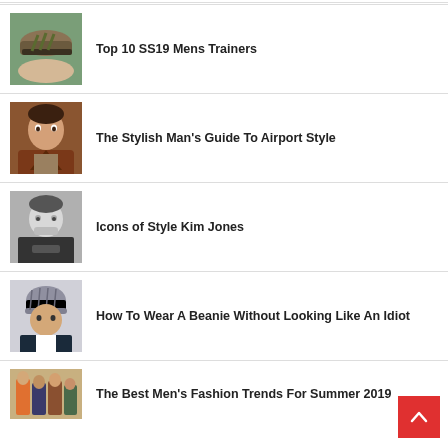[Figure (photo): Hand holding olive/khaki sneaker trainer on teal background]
Top 10 SS19 Mens Trainers
[Figure (photo): Young man in brown jacket, close-up portrait]
The Stylish Man's Guide To Airport Style
[Figure (photo): Black and white portrait of Kim Jones in dark hoodie]
Icons of Style Kim Jones
[Figure (photo): Man wearing grey beanie hat]
How To Wear A Beanie Without Looking Like An Idiot
[Figure (photo): Group of men in fashion clothing, summer styles]
The Best Men's Fashion Trends For Summer 2019